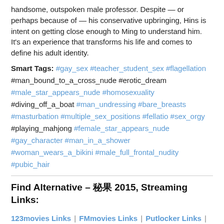handsome, outspoken male professor. Despite — or perhaps because of — his conservative upbringing, Hins is intent on getting close enough to Ming to understand him. It's an experience that transforms his life and comes to define his adult identity.
Smart Tags: #gay_sex #teacher_student_sex #flagellation #man_bound_to_a_cross_nude #erotic_dream #male_star_appears_nude #homosexuality #diving_off_a_boat #man_undressing #bare_breasts #masturbation #multiple_sex_positions #fellatio #sex_orgy #playing_mahjong #female_star_appears_nude #gay_character #man_in_a_shower #woman_wears_a_bikini #male_full_frontal_nudity #pubic_hair
Find Alternative – 秘果 2015, Streaming Links:
123movies Links | FMmovies Links | Putlocker Links | GoMovies Links | SolarMovie Links | Soap2day Links